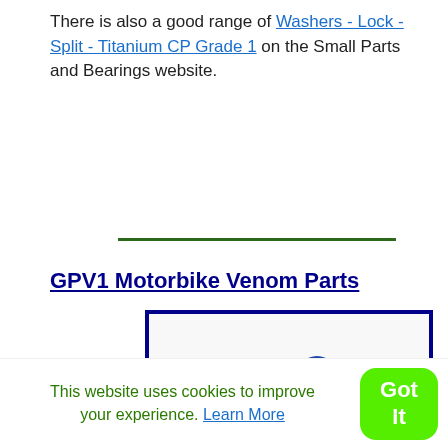There is also a good range of Washers - Lock - Split - Titanium CP Grade 1 on the Small Parts and Bearings website.
[Figure (other): A horizontal dark green divider line]
GPV1 Motorbike Venom Parts
[Figure (photo): Photo of a green and white RC motorbike model with a rider in a blue helmet, leaning into a turn, displayed with a blue border.]
Sizes & Prices
This website uses cookies to improve your experience. Learn More
Got It